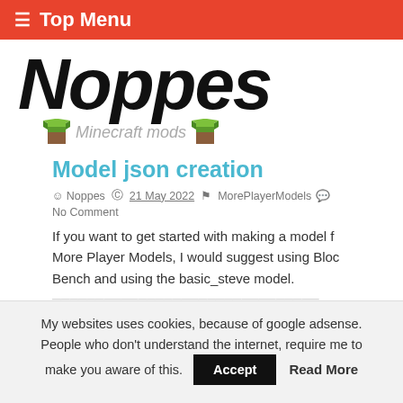≡ Top Menu
[Figure (logo): Noppes Minecraft mods logo with italic bold 'Noppes' text and two grass block cube icons with 'Minecraft mods' text]
Model json creation
Noppes  21 May 2022  MorePlayerModels  No Comment
If you want to get started with making a model for More Player Models, I would suggest using BlockBench and using the basic_steve model.
My websites uses cookies, because of google adsense. People who don't understand the internet, require me to make you aware of this.  Accept  Read More